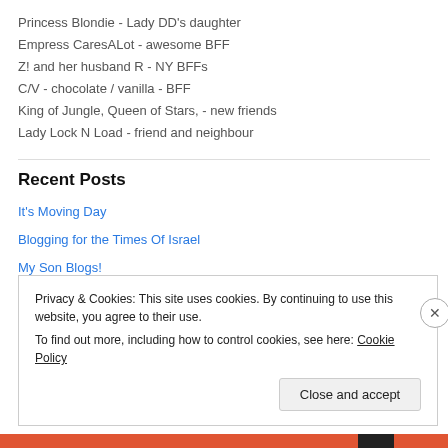Princess Blondie - Lady DD's daughter
Empress CaresALot - awesome BFF
Z! and her husband R - NY BFFs
C/V - chocolate / vanilla - BFF
King of Jungle, Queen of Stars, - new friends
Lady Lock N Load - friend and neighbour
Recent Posts
It's Moving Day
Blogging for the Times Of Israel
My Son Blogs!
Privacy & Cookies: This site uses cookies. By continuing to use this website, you agree to their use. To find out more, including how to control cookies, see here: Cookie Policy
Close and accept